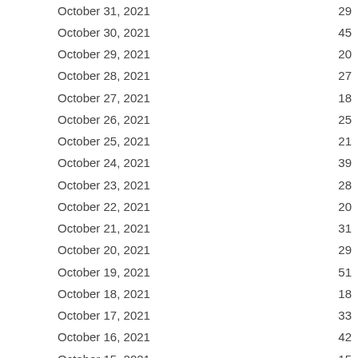| Date | Count |
| --- | --- |
| October 31, 2021 | 29 |
| October 30, 2021 | 45 |
| October 29, 2021 | 20 |
| October 28, 2021 | 27 |
| October 27, 2021 | 18 |
| October 26, 2021 | 25 |
| October 25, 2021 | 21 |
| October 24, 2021 | 39 |
| October 23, 2021 | 28 |
| October 22, 2021 | 20 |
| October 21, 2021 | 31 |
| October 20, 2021 | 29 |
| October 19, 2021 | 51 |
| October 18, 2021 | 18 |
| October 17, 2021 | 33 |
| October 16, 2021 | 42 |
| October 15, 2021 | 15 |
| October 14, 2021 | 13 |
| October 13, 2021 | 22 |
| October 12, 2021 | 29 |
| October 11, 2021 | 32 |
| October 10, 2021 | 26 |
| October 9, 2021 | 24 |
| October 8, 2021 | 30 |